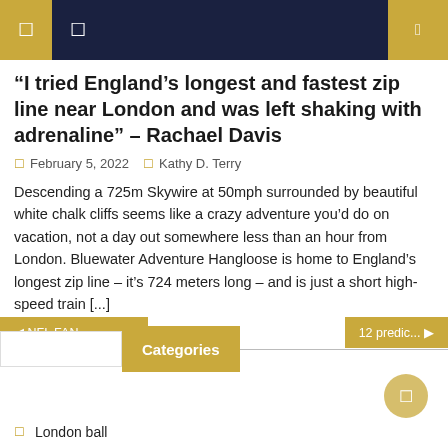Navigation header with icons
“I tried England’s longest and fastest zip line near London and was left shaking with adrenaline” – Rachael Davis
February 5, 2022  Kathy D. Terry
Descending a 725m Skywire at 50mph surrounded by beautiful white chalk cliffs seems like a crazy adventure you’d do on vacation, not a day out somewhere less than an hour from London. Bluewater Adventure Hangloose is home to England’s longest zip line – it’s 724 meters long – and is just a short high-speed train [...]
⏴ NFL FAN...
12 predic... ⏵
Categories
London ball